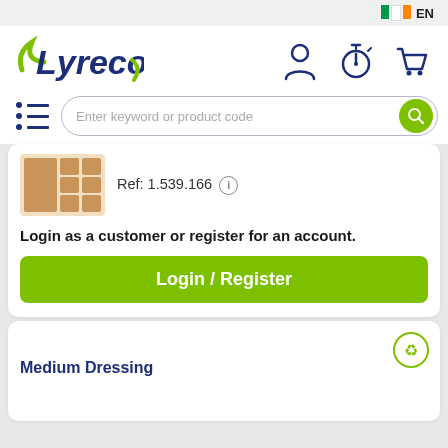[Figure (screenshot): Lyreco e-commerce website screenshot showing header with logo, navigation icons, search bar, product reference card with login prompt, and a product card at the bottom.]
EN
Lyreco
Enter keyword or product code
Ref: 1.539.166
Login as a customer or register for an account.
Login / Register
Medium Dressing